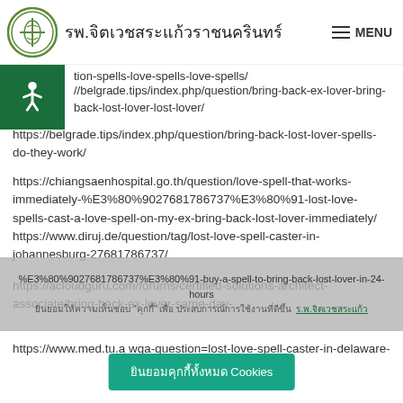รพ.จิตเวชสระแก้วราชนครินทร์ MENU
tion-spells-love-spells-love-spells/ //belgrade.tips/index.php/question/bring-back-ex-lover-bring-back-lost-lover-lost-lover/ https://belgrade.tips/index.php/question/bring-back-lost-lover-spells-do-they-work/ https://chiangsaenhospital.go.th/question/love-spell-that-works-immediately-%E3%80%9027681786737%E3%80%91-lost-love-spells-cast-a-love-spell-on-my-ex-bring-back-lost-lover-immediately/ https://www.diruj.de/question/tag/lost-love-spell-caster-in-johannesburg-27681786737/ https://acloudguru.com/forums/certified-solutions-architect-associate/bring-back-ex-lover-same-day-%E3%80%9027681786737%E3%80%91-buy-a-spell-to-bring-back-lost-lover-in-24-hours https://www.med.tu.a wqa-question=lost-love-spell-caster-in-delaware-